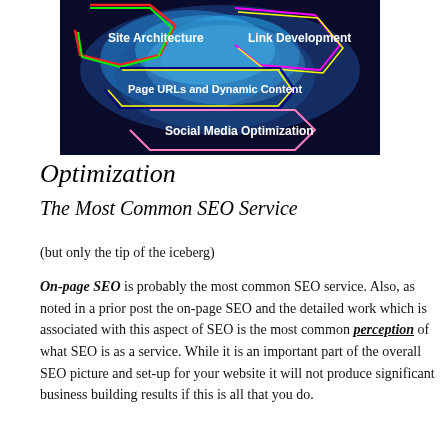[Figure (infographic): SEO infographic showing a brain-like image with colored regions labeled: Site Architecture (green), Link Development (magenta/yellow), Page URLs and Dynamic Content (dark blue/yellow), Social Media Optimization (pink/blue)]
Optimization
The Most Common SEO Service
(but only the tip of the iceberg)
On-page SEO is probably the most common SEO service. Also, as noted in a prior post the on-page SEO and the detailed work which is associated with this aspect of SEO is the most common perception of what SEO is as a service. While it is an important part of the overall SEO picture and set-up for your website it will not produce significant business building results if this is all that you do.